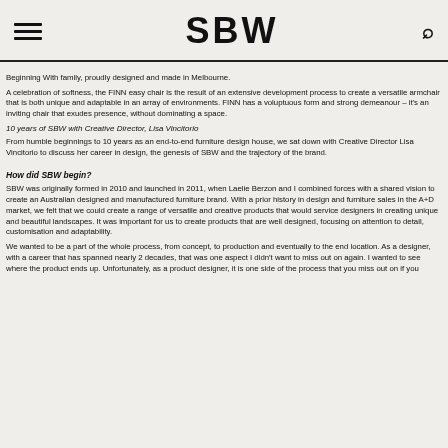SBW
Beginning With family, proudly designed and made in Melbourne.
A celebration of softness, the FINN easy chair is the result of an extensive development process to create a versatile armchair that is both unique and adaptable in an array of environments. FINN has a voluptuous form and strong demeanour – it's an inviting chair that exudes presence, without dominating a space.
10 years of SBW with Creative Director, Lisa Vincitorio
From humble beginnings to 10 years as an end-to-end furniture design house, we sat down with Creative Director Lisa Vincitorio to discuss her career in design, the genesis of SBW and the trajectory of the brand.
How did SBW begin?
SBW was originally formed in 2010 and launched in 2011, when Laelie Berzon and I combined forces with a shared vision to create an Australian designed and manufactured furniture brand. With a prior history in design and furniture sales in the A+D market, we felt that we could create a range of versatile and creative products that would service designers in creating unique and beautiful landscapes. It was important for us to create products that are well designed, focusing on attention to detail, customisation and adaptability.
We wanted to be a part of the whole process, from concept, to production and eventually to the end location. As a designer, with a career that has spanned nearly 2 decades, that was one aspect I didn't want to miss out on again. I wanted to see where the product ends up. Unfortunately, as a product designer, it is one side of the process that you miss out on if you